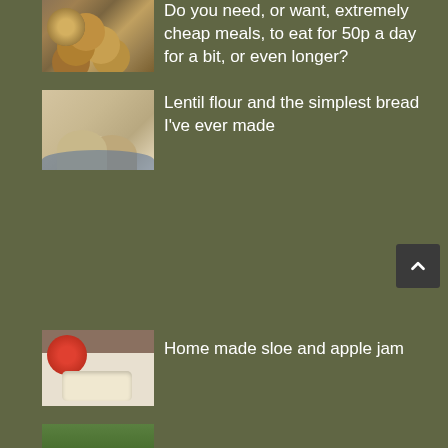[Figure (photo): Thumbnail of coins (British currency)]
Do you need, or want, extremely cheap meals, to eat for 50p a day for a bit, or even longer?
[Figure (photo): Thumbnail of lentil flour bread on a blue and white plate]
Lentil flour and the simplest bread I've ever made
[Figure (photo): Thumbnail of home made sloe and apple jam with toast and apples]
Home made sloe and apple jam
[Figure (photo): Partial thumbnail of another item at bottom of page]